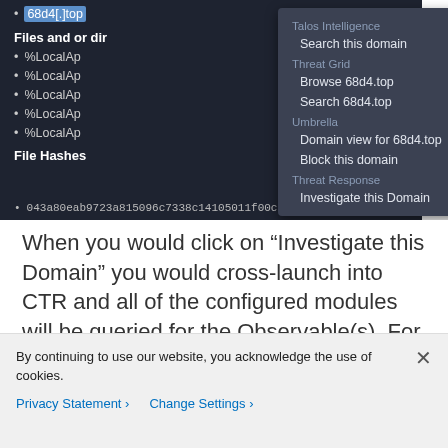[Figure (screenshot): Dark-themed UI screenshot showing a list with bullet items (68d4[.]top highlighted, Files and or dir section with %LocalAp items, File Hashes section), with an open dropdown context menu containing options: Talos Intelligence > Search this domain, Threat Grid > Browse 68d4.top / Search 68d4.top, Umbrella > Domain view for 68d4.top / Block this domain, Threat Response > Investigate this Domain. A hash starting with 043a80eab9723a815096c7338c14105011f00c8fe1fe86a02c7c7 is shown at the bottom.]
When you would click on “Investigate this Domain” you would cross-launch into CTR and all of the configured modules will be queried for the Observable(s). For example, the Umbrella Reporting API (available with all Umbrella
By continuing to use our website, you acknowledge the use of cookies.
Privacy Statement > Change Settings >